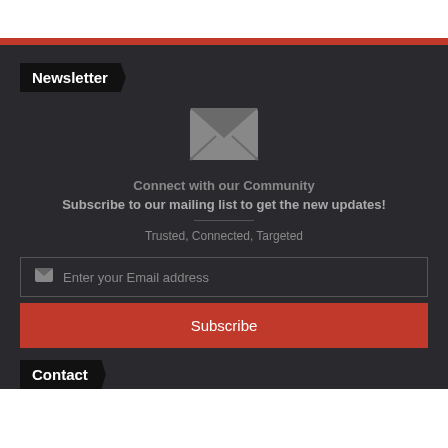Newsletter
[Figure (illustration): Large envelope/mail icon in gray, centered]
Connect with our Community
Subscribe to our mailing list to get the new updates!
Trusted, Connected, Targeted
Enter your Email address
Subscribe
Contact